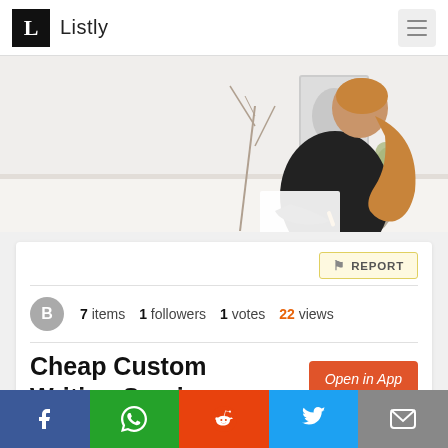L Listly
[Figure (photo): Woman with blonde ponytail, wearing black, sitting at a white desk writing, viewed from behind. Light background with plants and a picture frame.]
🚩 REPORT
B  7 items  1 followers  1 votes  22 views
Cheap Custom Writing Services
Open in App
Facebook  WhatsApp  Reddit  Twitter  Email